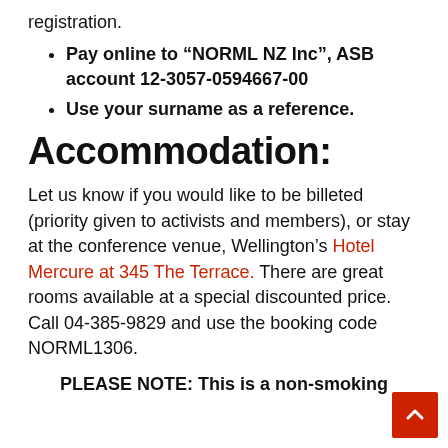registration.
Pay online to “NORML NZ Inc”, ASB account 12-3057-0594667-00
Use your surname as a reference.
Accommodation:
Let us know if you would like to be billeted (priority given to activists and members), or stay at the conference venue, Wellington’s Hotel Mercure at 345 The Terrace. There are great rooms available at a special discounted price. Call 04-385-9829 and use the booking code NORML1306.
PLEASE NOTE: This is a non-smoking